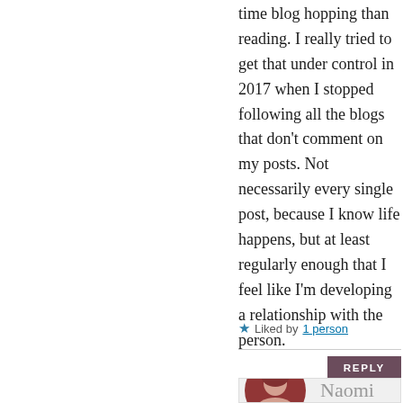time blog hopping than reading. I really tried to get that under control in 2017 when I stopped following all the blogs that don't comment on my posts. Not necessarily every single post, because I know life happens, but at least regularly enough that I feel like I'm developing a relationship with the person.
★ Liked by 1 person
REPLY
Naomi